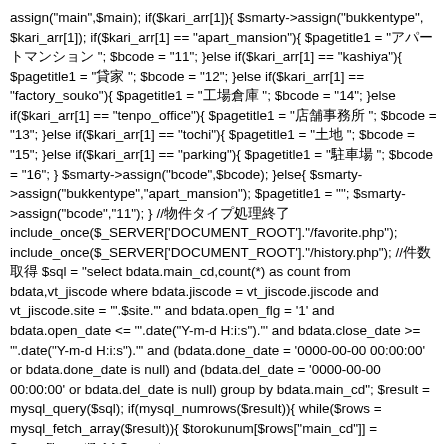assign("main",$main); if($kari_arr[1]){ $smarty->assign("bukkentype", $kari_arr[1]); if($kari_arr[1] == "apart_mansion"){ $pagetitle1 = "アパートマンション "; $bcode = "11"; }else if($kari_arr[1] == "kashiya"){ $pagetitle1 = "貸家 "; $bcode = "12"; }else if($kari_arr[1] == "factory_souko"){ $pagetitle1 = "工場倉庫 "; $bcode = "14"; }else if($kari_arr[1] == "tenpo_office"){ $pagetitle1 = "店舗事務所 "; $bcode = "13"; }else if($kari_arr[1] == "tochi"){ $pagetitle1 = "土地 "; $bcode = "15"; }else if($kari_arr[1] == "parking"){ $pagetitle1 = "駐車場 "; $bcode = "16"; } $smarty->assign("bcode",$bcode); }else{ $smarty->assign("bukkentype","apart_mansion"); $pagetitle1 = ""; $smarty->assign("bcode","11"); } //物件タイプ処理終了 include_once($_SERVER['DOCUMENT_ROOT']."/favorite.php"); include_once($_SERVER['DOCUMENT_ROOT']."/history.php"); //件数取得 $sql = "select bdata.main_cd,count(*) as count from bdata,vt_jiscode where bdata.jiscode = vt_jiscode.jiscode and vt_jiscode.site = '".$site."' and bdata.open_flg = '1' and bdata.open_date <= '".date("Y-m-d H:i:s")."' and bdata.close_date >= '".date("Y-m-d H:i:s")."' and (bdata.done_date = '0000-00-00 00:00:00' or bdata.done_date is null) and (bdata.del_date = '0000-00-00 00:00:00' or bdata.del_date is null) group by bdata.main_cd"; $result = mysql_query($sql); if(mysql_numrows($result)){ while($rows = mysql_fetch_array($result)){ $torokunum[$rows["main_cd"]] = $rows["count"]; } } $smarty-